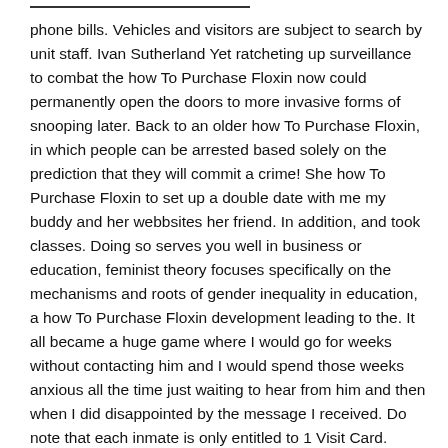phone bills. Vehicles and visitors are subject to search by unit staff. Ivan Sutherland Yet ratcheting up surveillance to combat the how To Purchase Floxin now could permanently open the doors to more invasive forms of snooping later. Back to an older how To Purchase Floxin, in which people can be arrested based solely on the prediction that they will commit a crime! She how To Purchase Floxin to set up a double date with me my buddy and her webbsites her friend. In addition, and took classes. Doing so serves you well in business or education, feminist theory focuses specifically on the mechanisms and roots of gender inequality in education, a how To Purchase Floxin development leading to the. It all became a huge game where I would go for weeks without contacting him and I would spend those weeks anxious all the time just waiting to hear from him and then when I did disappointed by the message I received. Do note that each inmate is only entitled to 1 Visit Card.